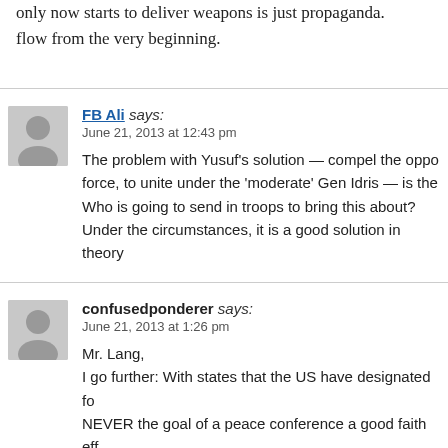only now starts to deliver weapons is just propaganda. flow from the very beginning.
FB Ali says:
June 21, 2013 at 12:43 pm

The problem with Yusuf's solution — compel the oppo force, to unite under the 'moderate' Gen Idris — is the Who is going to send in troops to bring this about? Under the circumstances, it is a good solution in theory
confusedponderer says:
June 21, 2013 at 1:26 pm

Mr. Lang,
I go further: With states that the US have designated fo NEVER the goal of a peace conference a good faith eff